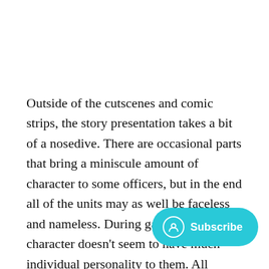Outside of the cutscenes and comic strips, the story presentation takes a bit of a nosedive. There are occasional parts that bring a miniscule amount of character to some officers, but in the end all of the units may as well be faceless and nameless. During gameplay, each character doesn't seem to have much individual personality to them. All narration refers to officers as he/him, even if you are acting as a fe[male officer], [and] during combat, each unit looks exa[ctly the same which] comes across as lazy. A little more effort to make [the game's characters feel individual officers would...]